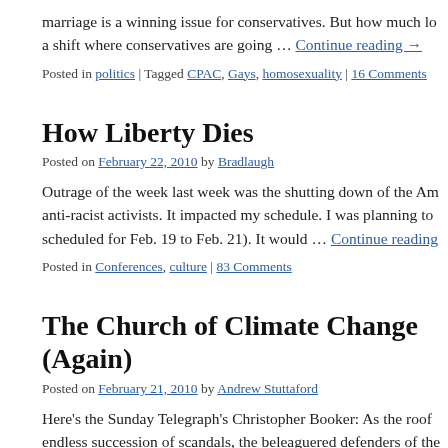marriage is a winning issue for conservatives. But how much lo… a shift where conservatives are going … Continue reading →
Posted in politics | Tagged CPAC, Gays, homosexuality | 16 Comments
How Liberty Dies
Posted on February 22, 2010 by Bradlaugh
Outrage of the week last week was the shutting down of the Am… anti-racist activists. It impacted my schedule. I was planning to… scheduled for Feb. 19 to Feb. 21). It would … Continue reading
Posted in Conferences, culture | 83 Comments
The Church of Climate Change (Again)
Posted on February 21, 2010 by Andrew Stuttaford
Here's the Sunday Telegraph's Christopher Booker: As the roof… endless succession of scandals, the beleaguered defenders of the…